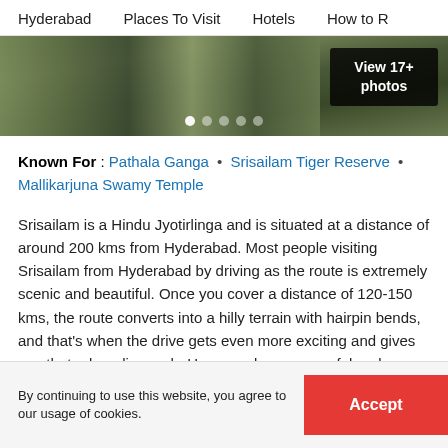Hyderabad   Places To Visit   Hotels   How to R
[Figure (photo): Scenic landscape photo of Srisailam showing rocky terrain, moss-covered rocks, and water, with a dark overlay button showing 'View 17+ photos' and navigation dots at the bottom.]
Known For : Pathala Ganga • Srisailam Tiger Reserve • Mallikarjuna Swamy Temple
Srisailam is a Hindu Jyotirlinga and is situated at a distance of around 200 kms from Hyderabad. Most people visiting Srisailam from Hyderabad by driving as the route is extremely scenic and beautiful. Once you cover a distance of 120-150 kms, the route converts into a hilly terrain with hairpin bends, and that's when the drive gets even more exciting and gives you that adrenaline rush. However, be very careful and remember to keep to the speed limit and follow the road rules. Once you are there
By continuing to use this website, you agree to our usage of cookies.